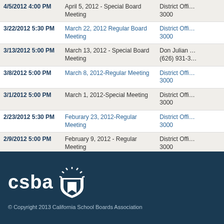| Date/Time | Meeting | Location |
| --- | --- | --- |
| 4/5/2012 4:00 PM | April 5, 2012 - Special Board Meeting | District Offi… 3000 |
| 3/22/2012 5:30 PM | March 22, 2012 Regular Board Meeting | District Offi… 3000 |
| 3/13/2012 5:00 PM | March 13, 2012 - Special Board Meeting | Don Julian … (626) 931-3… |
| 3/8/2012 5:00 PM | March 8, 2012-Regular Meeting | District Offi… 3000 |
| 3/1/2012 5:00 PM | March 1, 2012-Special Meeting | District Offi… 3000 |
| 2/23/2012 5:30 PM | Feburary 23, 2012-Regular Meeting | District Offi… 3000 |
| 2/9/2012 5:00 PM | February 9, 2012 - Regular Meeting | District Offi… 3000 |
| 2/6/2012 5:00 PM | February 6, 2012-Special Meeting | District Offi… 3000 |
[Figure (logo): CSBA (California School Boards Association) white logo on dark navy background]
© Copyright 2013 California School Boards Association